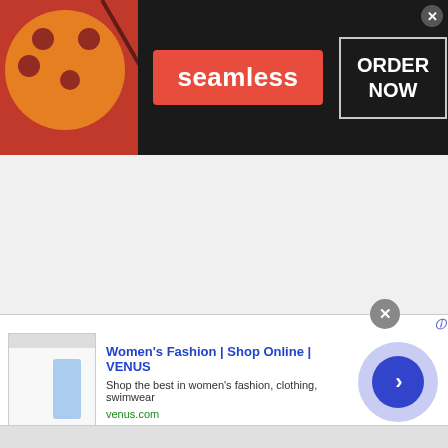[Figure (advertisement): Seamless food delivery advertisement banner. Left side shows pizza slices, center shows 'seamless' in white text on red badge, right side shows 'ORDER NOW' text in white in a rectangular border outline on dark background. Close button (x) at top right.]
[Figure (advertisement): Venus women's fashion online shop advertisement. Left side shows a screenshot of the venus.com website with a woman in fashion clothing. Center shows title 'Women's Fashion | Shop Online | VENUS' in blue, description 'Shop the best in women's fashion, clothing, swimwear' and URL 'venus.com' in green. Right side shows circular button with right arrow. Close (x) button at top right. Small 'i' info icon top right corner.]